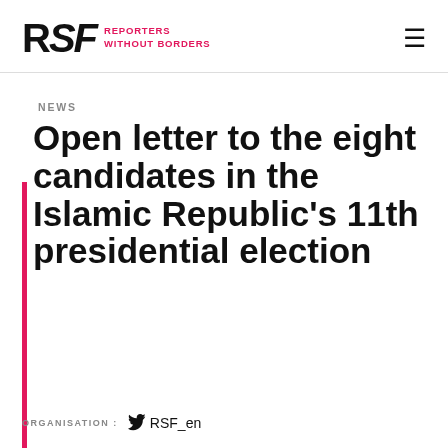RSF REPORTERS WITHOUT BORDERS
NEWS
Open letter to the eight candidates in the Islamic Republic's 11th presidential election
ORGANISATION: RSF_en